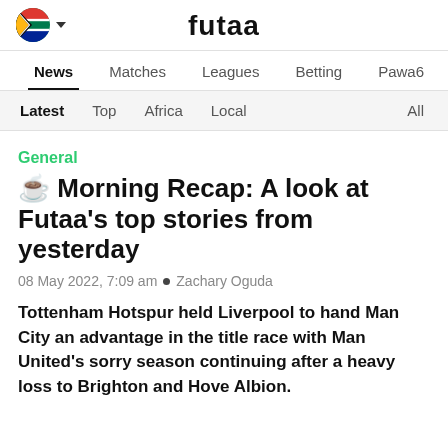futaa
News  Matches  Leagues  Betting  Pawa6
Latest  Top  Africa  Local  All
General
☕ Morning Recap: A look at Futaa's top stories from yesterday
08 May 2022, 7:09 am • Zachary Oguda
Tottenham Hotspur held Liverpool to hand Man City an advantage in the title race with Man United's sorry season continuing after a heavy loss to Brighton and Hove Albion.